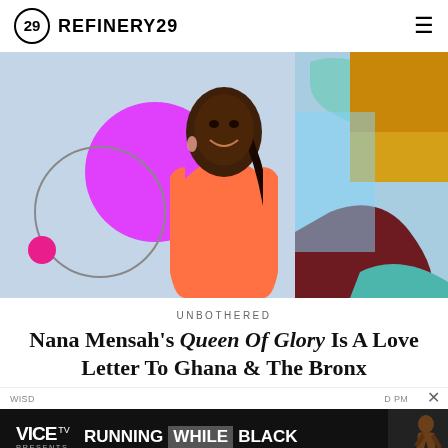REFINERY29
[Figure (photo): A smiling Black woman with long braided hair wearing a coral/salmon sleeveless top, photographed against a colorful abstract graphic background with pink circles, teal shapes, dark red organic forms, and gold/orange shapes.]
UNBOTHERED
Nana Mensah's Queen Of Glory Is A Love Letter To Ghana & The Bronx
[Figure (screenshot): VICE TV advertisement bar: VICE TV PRESENTS RUNNING WHILE BLACK with a thumbnail of a runner.]